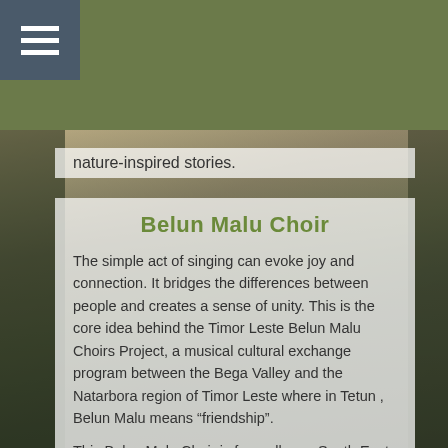[Figure (photo): Outdoor festival or concert scene at dusk/sunset with tents and trees visible in the background, warm golden tones]
nature-inspired stories.
Belun Malu Choir
The simple act of singing can evoke joy and connection. It bridges the differences between people and creates a sense of unity. This is the core idea behind the Timor Leste Belun Malu Choirs Project, a musical cultural exchange program between the Bega Valley and the Natarbora region of Timor Leste where in Tetun , Belun Malu means “friendship”.
This Belun Malu Choir is from all over South East NSW from Kiah to Bermagui. Conducted by David Francis, it has been purposely formed to travel to, and perform in Timor